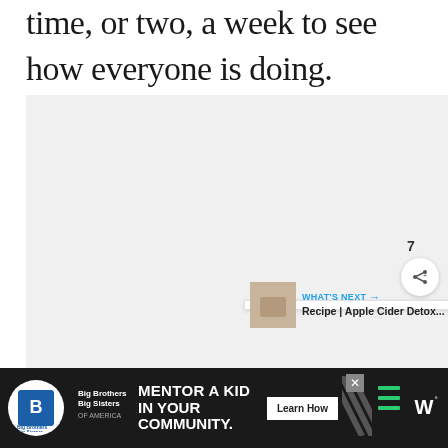time, or two, a week to see how everyone is doing.
[Figure (photo): Large light gray image placeholder area in the center of the page]
[Figure (screenshot): UI elements: heart/like button (blue circle with heart icon), count of 7, share button (white circle with share icon), and a 'WHAT'S NEXT' card showing 'Recipe | Apple Cider Detox...' with a thumbnail image]
[Figure (other): Advertisement banner at bottom: Big Brothers Big Sisters logo, text 'MENTOR A KID IN YOUR COMMUNITY.' with 'Learn How' button on dark background]